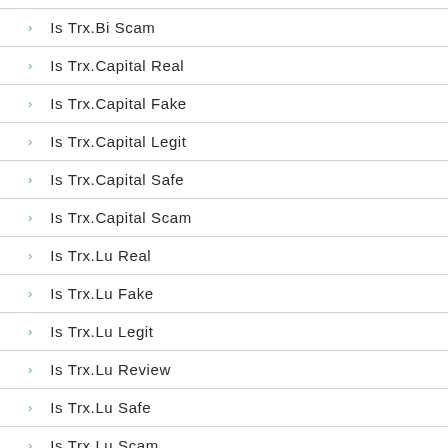Is Trx.Bi Scam
Is Trx.Capital Real
Is Trx.Capital Fake
Is Trx.Capital Legit
Is Trx.Capital Safe
Is Trx.Capital Scam
Is Trx.Lu Real
Is Trx.Lu Fake
Is Trx.Lu Legit
Is Trx.Lu Review
Is Trx.Lu Safe
Is Trx.Lu Scam
Is Trx.Ms Real